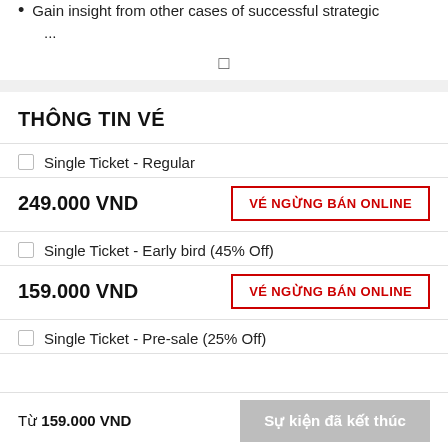Gain insight from other cases of successful strategic
THÔNG TIN VÉ
Single Ticket - Regular
249.000 VND
VÉ NGỪNG BÁN ONLINE
Single Ticket - Early bird (45% Off)
159.000 VND
VÉ NGỪNG BÁN ONLINE
Single Ticket - Pre-sale (25% Off)
Từ 159.000 VND
Sự kiện đã kết thúc